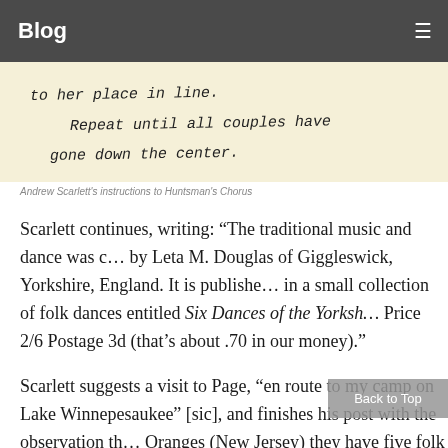Blog
[Figure (photo): Handwritten notes showing 'Repeat until all couples have gone down the center.']
Andrew Scarlett's instructions to Huntsman's Chorus
Scarlett continues, writing: “The traditional music and dance was c… by Leta M. Douglas of Giggleswick, Yorkshire, England. It is publishe… in a small collection of folk dances entitled Six Dances of the Yorksh… Price 2/6 Postage 3d (that’s about .70 in our money).”
Scarlett suggests a visit to Page, “en route to my camp on Lake Winnepesaukee” [sic], and finishes his post with the observation th… Oranges (New Jersey) they have five folk dance groups and a grea… more in nearby New York “with its cosmopolitan population.” Eve… groups is a wonderful number, whether they are cosmopolitan or…
As far as the fate of the Page and Scarlett correspondence goes, r… and I decided that, despite the correct rules of provenance, it is in…